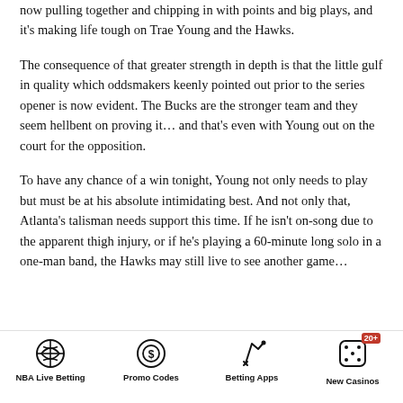now pulling together and chipping in with points and big plays, and it's making life tough on Trae Young and the Hawks.
The consequence of that greater strength in depth is that the little gulf in quality which oddsmakers keenly pointed out prior to the series opener is now evident. The Bucks are the stronger team and they seem hellbent on proving it… and that's even with Young out on the court for the opposition.
To have any chance of a win tonight, Young not only needs to play but must be at his absolute intimidating best. And not only that, Atlanta's talisman needs support this time. If he isn't on-song due to the apparent thigh injury, or if he's playing a 60-minute long solo in a one-man band, the Hawks may still live to see another game…
NBA Live Betting | Promo Codes | Betting Apps | New Casinos